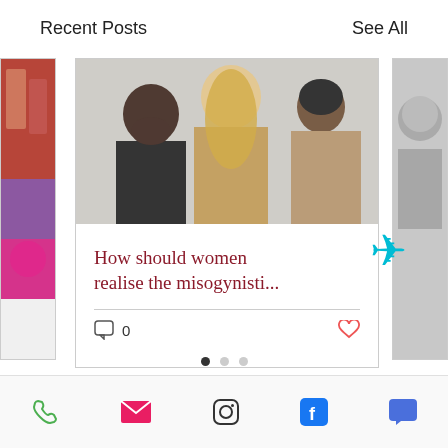Recent Posts
See All
[Figure (screenshot): Carousel of blog post cards. Center card shows a photo of three people (two men and a woman) with a title 'How should women realise the misogynisti...' and comment/like icons. Left and right partial cards are visible. An airplane emoji icon overlaps the right edge of the center card.]
How should women realise the misogynisti...
[Figure (infographic): Three carousel pagination dots, first filled/dark, second and third empty/grey]
[Figure (infographic): Bottom navigation bar with phone (green), email (pink/red), Instagram, Facebook (blue), and chat (blue) icons]